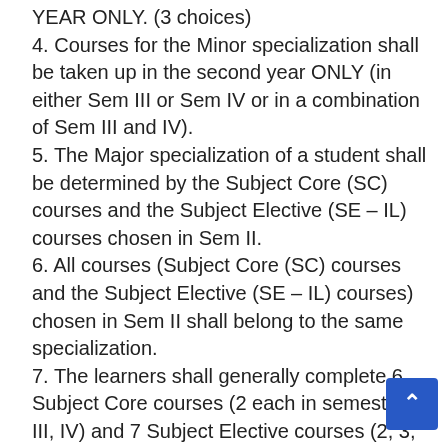YEAR ONLY. (3 choices)
4. Courses for the Minor specialization shall be taken up in the second year ONLY (in either Sem III or Sem IV or in a combination of Sem III and IV).
5. The Major specialization of a student shall be determined by the Subject Core (SC) courses and the Subject Elective (SE – IL) courses chosen in Sem II.
6. All courses (Subject Core (SC) courses and the Subject Elective (SE – IL) courses) chosen in Sem II shall belong to the same specialization.
7. The learners shall generally complete 6 Subject Core courses (2 each in semester II, III, IV) and 7 Subject Elective courses (2, 3, 2 each in semester II,